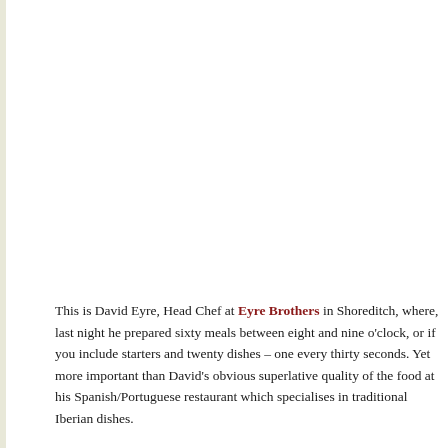This is David Eyre, Head Chef at Eyre Brothers in Shoreditch, where, last night he prepared sixty meals between eight and nine o'clock, or if you include starters and twenty dishes – one every thirty seconds. Yet more important than David's obvious superlative quality of the food at his Spanish/Portuguese restaurant which specialises in traditional Iberian dishes.
It is no surprise that there is a discernible shine upon David's brow and his stray h…